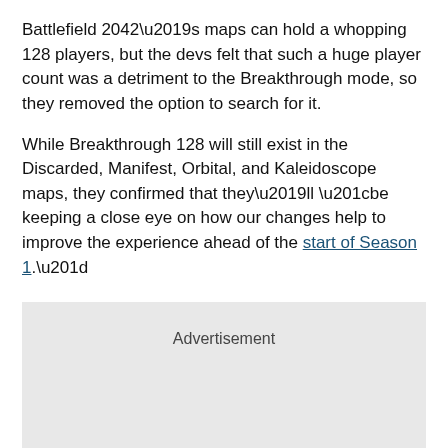Battlefield 2042’s maps can hold a whopping 128 players, but the devs felt that such a huge player count was a detriment to the Breakthrough mode, so they removed the option to search for it.
While Breakthrough 128 will still exist in the Discarded, Manifest, Orbital, and Kaleidoscope maps, they confirmed that they’ll “be keeping a close eye on how our changes help to improve the experience ahead of the start of Season 1.”
[Figure (other): Advertisement placeholder box with light gray background and 'Advertisement' label centered near the top.]